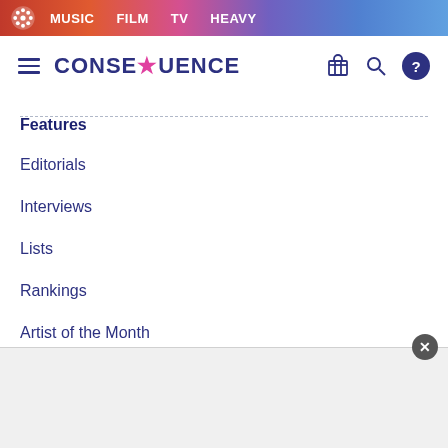MUSIC  FILM  TV  HEAVY
[Figure (logo): Consequence of Sound logo with hamburger menu, site name CONSEQUENCE, store icon, search icon, and help icon]
Features
Editorials
Interviews
Lists
Rankings
Artist of the Month
Song of the Week
[Figure (other): Advertisement area with close button (X)]